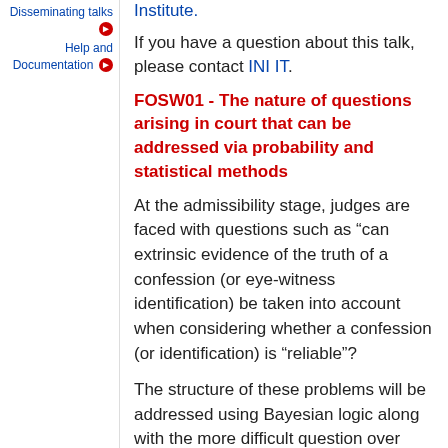Disseminating talks
Help and Documentation
Institute.
If you have a question about this talk, please contact INI IT.
FOSW01 - The nature of questions arising in court that can be addressed via probability and statistical methods
At the admissibility stage, judges are faced with questions such as “can extrinsic evidence of the truth of a confession (or eye-witness identification) be taken into account when considering whether a confession (or identification) is “reliable”?
The structure of these problems will be addressed using Bayesian logic along with the more difficult question over which the High Court of Australia recently divided in IMM v R [2016] HCA 14 namely whether when evidence has to reach a